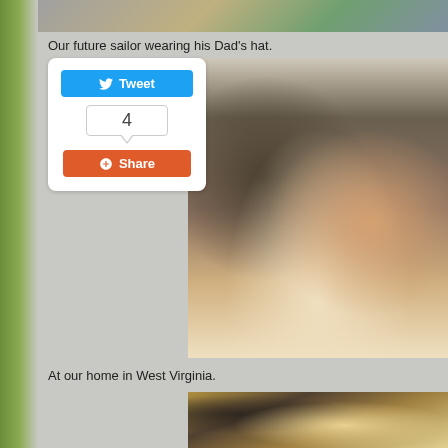[Figure (photo): Partial top image strip showing outdoor photos]
Our future sailor wearing his Dad's hat.
[Figure (infographic): Twitter Tweet button with count of 4 and Google+ Share button social widget]
[Figure (photo): Young toddler wearing a camouflage military hat on a floral couch]
At our home in West Virginia.
[Figure (photo): Partial photo of people at home in West Virginia, lamp visible in background]